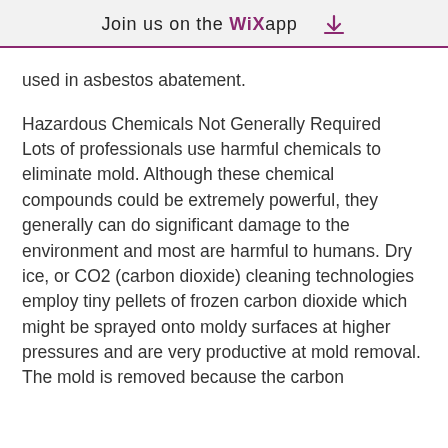Join us on the WiX app
used in asbestos abatement.
Hazardous Chemicals Not Generally Required
Lots of professionals use harmful chemicals to eliminate mold. Although these chemical compounds could be extremely powerful, they generally can do significant damage to the environment and most are harmful to humans. Dry ice, or CO2 (carbon dioxide) cleaning technologies employ tiny pellets of frozen carbon dioxide which might be sprayed onto moldy surfaces at higher pressures and are very productive at mold removal. The mold is removed because the carbon